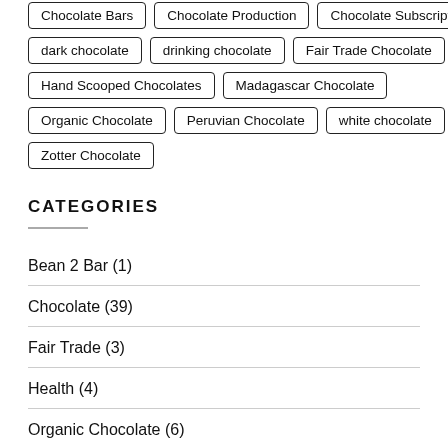Chocolate Bars
Chocolate Production
Chocolate Subscription
dark chocolate
drinking chocolate
Fair Trade Chocolate
Hand Scooped Chocolates
Madagascar Chocolate
Organic Chocolate
Peruvian Chocolate
white chocolate
Zotter Chocolate
CATEGORIES
Bean 2 Bar (1)
Chocolate (39)
Fair Trade (3)
Health (4)
Organic Chocolate (6)